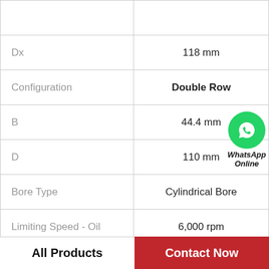| Parameter | Value |
| --- | --- |
| Dx | 118 mm |
| Configuration | Double Row |
| B | 44.4 mm |
| D | 110 mm |
| Bore Type | Cylindrical Bore |
| Limiting Speed - Oil | 6,000 rpm |
| Dynamic Load Rating | 90,000 N |
| Weight | 1.930 kg |
WhatsApp Online
All Products | Contact Now